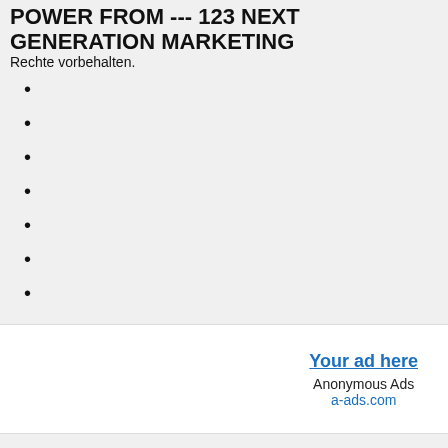POWER FROM --- 123 NEXT GENERATION MARKETING
Rechte vorbehalten.
[Figure (other): Advertisement banner: 'Your ad here' Anonymous Ads a-ads.com]